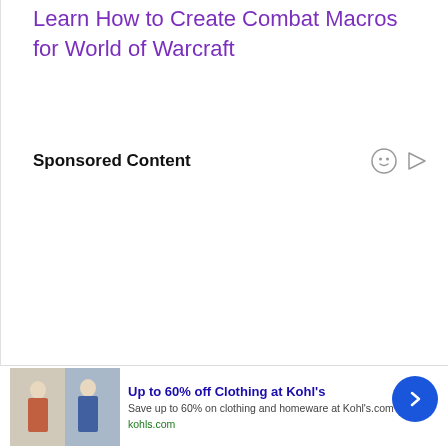Learn How to Create Combat Macros for World of Warcraft
Sponsored Content
[Figure (screenshot): Advertisement banner for Kohl's: 'Up to 60% off Clothing at Kohl's' with image of two models and text 'Save up to 60% on clothing and homeware at Kohl's.com' and URL 'kohls.com']